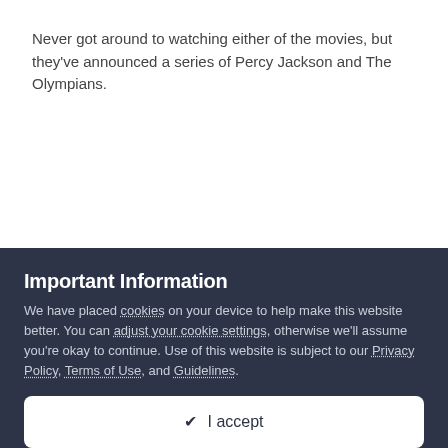Never got around to watching either of the movies, but they've announced a series of Percy Jackson and The Olympians.
Important Information
We have placed cookies on your device to help make this website better. You can adjust your cookie settings, otherwise we'll assume you're okay to continue. Use of this website is subject to our Privacy Policy, Terms of Use, and Guidelines.